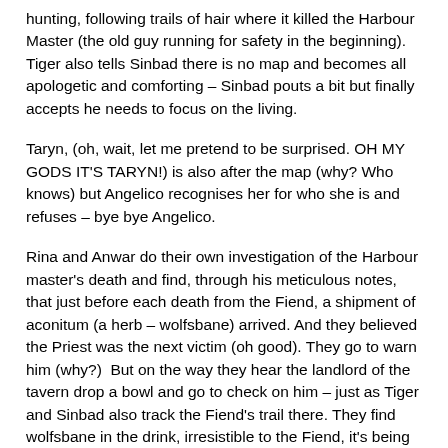hunting, following trails of hair where it killed the Harbour Master (the old guy running for safety in the beginning). Tiger also tells Sinbad there is no map and becomes all apologetic and comforting – Sinbad pouts a bit but finally accepts he needs to focus on the living.
Taryn, (oh, wait, let me pretend to be surprised. OH MY GODS IT'S TARYN!) is also after the map (why? Who knows) but Angelico recognises her for who she is and refuses – bye bye Angelico.
Rina and Anwar do their own investigation of the Harbour master's death and find, through his meticulous notes, that just before each death from the Fiend, a shipment of aconitum (a herb – wolfsbane) arrived. And they believed the Priest was the next victim (oh good). They go to warn him (why?)  But on the way they hear the landlord of the tavern drop a bowl and go to check on him – just as Tiger and Sinbad also track the Fiend's trail there. They find wolfsbane in the drink, irresistible to the Fiend, it's being used to draw him out. At this point, in case you still haven't put 2 and 2 together, the landlord turns into some kind of viney werewolf